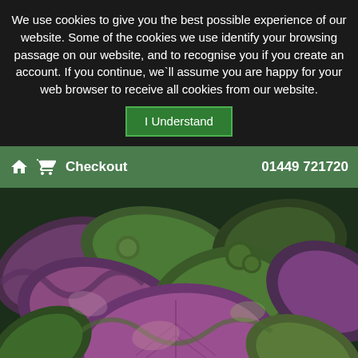We use cookies to give you the best possible experience of our website. Some of the cookies we use identify your browsing passage on our website, and to recognise you if you create an account. If you continue, we`ll assume you are happy for your web browser to receive all cookies from our website.
I Understand
🏠 🛒 Checkout   01449 721720
[Figure (photo): Close-up photograph of mixed leafy green and purple lettuce leaves, showing ruffled textures with green and reddish-purple coloring]